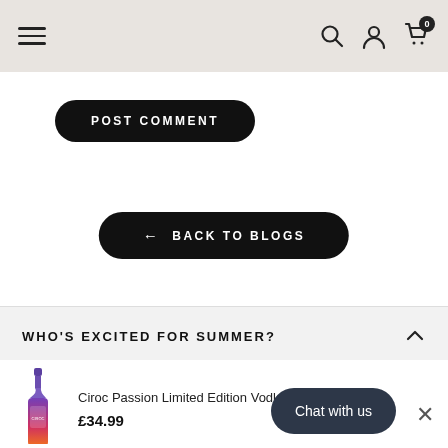Navigation bar with hamburger menu, search, account, and cart (0) icons
POST COMMENT
← BACK TO BLOGS
WHO'S EXCITED FOR SUMMER?
Ciroc Passion Limited Edition Vodka 75cl £34.99
Sandrs from United Kingdom Baileys Colada Limited Editi 9 hours ago
Chat with us